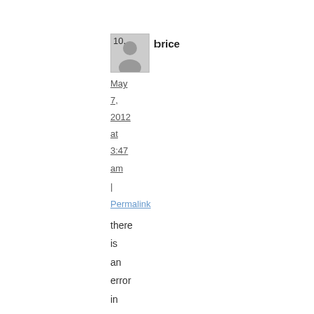10. brice
[Figure (photo): User avatar placeholder image with a silhouette icon]
May 7, 2012 at 3:47 am
| Permalink
there is an error in function green2 ( first version ) should be